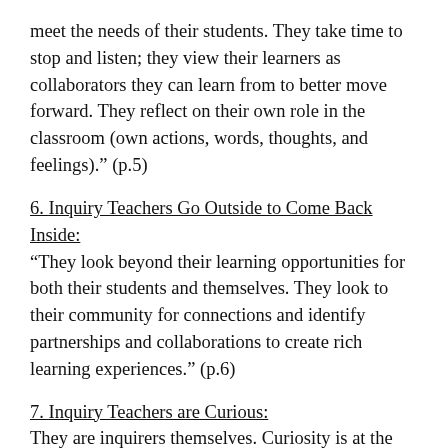meet the needs of their students. They take time to stop and listen; they view their learners as collaborators they can learn from to better move forward. They reflect on their own role in the classroom (own actions, words, thoughts, and feelings)." (p.5)
6. Inquiry Teachers Go Outside to Come Back Inside:
"They look beyond their learning opportunities for both their students and themselves. They look to their community for connections and identify partnerships and collaborations to create rich learning experiences." (p.6)
7. Inquiry Teachers are Curious:
They are inquirers themselves. Curiosity is at the heart of what they do, and they daily demonstrate and put voice to their own wonderings for their students to see. In inquiry classrooms, questions spiral to shape lessons, direct instruction, and encourage critical thinking and revision, which leads to even deeper questions." (p.6)